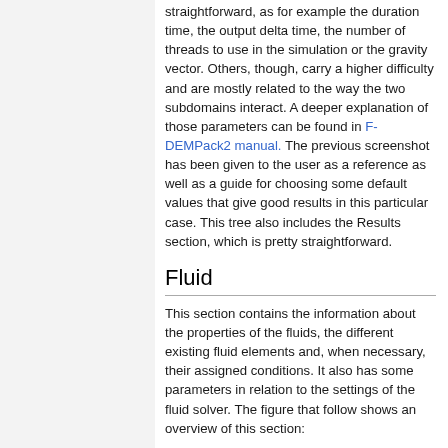straightforward, as for example the duration time, the output delta time, the number of threads to use in the simulation or the gravity vector. Others, though, carry a higher difficulty and are mostly related to the way the two subdomains interact. A deeper explanation of those parameters can be found in F-DEMPack2 manual. The previous screenshot has been given to the user as a reference as well as a guide for choosing some default values that give good results in this particular case. This tree also includes the Results section, which is pretty straightforward.
Fluid
This section contains the information about the properties of the fluids, the different existing fluid elements and, when necessary, their assigned conditions. It also has some parameters in relation to the settings of the fluid solver. The figure that follow shows an overview of this section:
[Figure (screenshot): Screenshot placeholder showing 'Double click here to tear off the window' with a G logo]